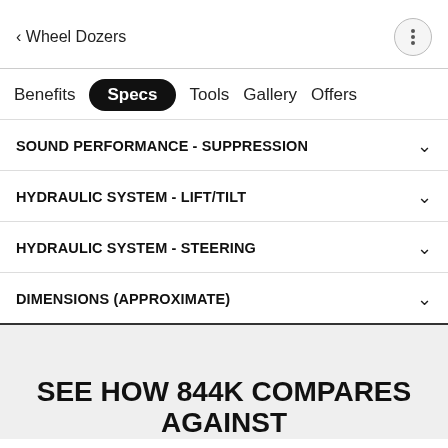< Wheel Dozers
Benefits
Specs
Tools
Gallery
Offers
SOUND PERFORMANCE - SUPPRESSION
HYDRAULIC SYSTEM - LIFT/TILT
HYDRAULIC SYSTEM - STEERING
DIMENSIONS (APPROXIMATE)
SEE HOW 844K COMPARES AGAINST